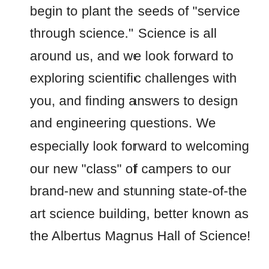begin to plant the seeds of "service through science." Science is all around us, and we look forward to exploring scientific challenges with you, and finding answers to design and engineering questions. We especially look forward to welcoming our new "class" of campers to our brand-new and stunning state-of-the art science building, better known as the Albertus Magnus Hall of Science!